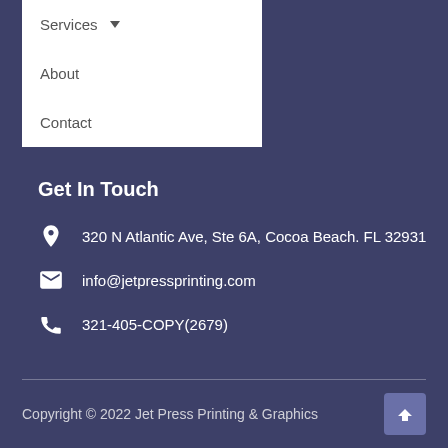Services ▾
About
Contact
Get In Touch
320 N Atlantic Ave, Ste 6A, Cocoa Beach. FL 32931
info@jetpressprinting.com
321-405-COPY(2679)
Copyright © 2022 Jet Press Printing & Graphics